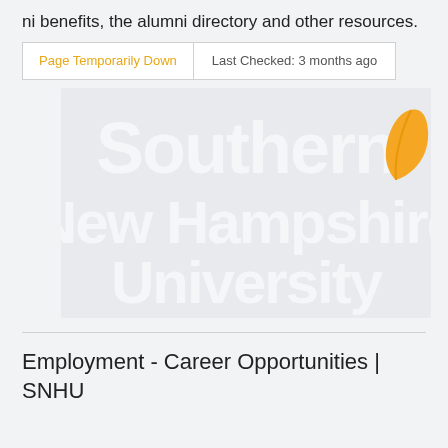ni benefits, the alumni directory and other resources.
Page Temporarily Down   Last Checked: 3 months ago
[Figure (logo): Southern New Hampshire University logo with orange/gold leaf icon and white text on light grey background]
Employment - Career Opportunities | SNHU